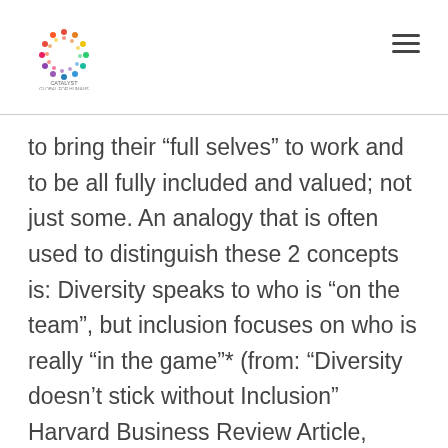Catalyst Global for Humans
to bring their “full selves” to work and to be all fully included and valued; not just some. An analogy that is often used to distinguish these 2 concepts is: Diversity speaks to who is “on the team”, but inclusion focuses on who is really “in the game”* (from: “Diversity doesn’t stick without Inclusion” Harvard Business Review Article, 2017) So, while many companies feel that they have reached increased levels of diversity in their